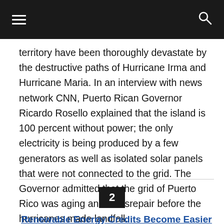≡  🔍
territory have been thoroughly devastate by the destructive paths of Hurricane Irma and Hurricane Maria. In an interview with news network CNN, Puerto Rican Governor Ricardo Rosello explained that the island is 100 percent without power; the only electricity is being produced by a few generators as well as isolated solar panels that were not connected to the grid. The Governor admitted that the grid of Puerto Rico was aging and in disrepair before the hurricanes made landfall.
2
Renewable Energy Credits Become Easier to Redeem